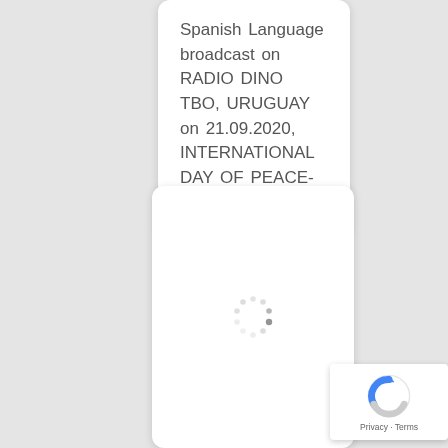Spanish Language broadcast on RADIO DINO TBO, URUGUAY on 21.09.2020, INTERNATIONAL DAY OF PEACE-2020.
[Figure (other): A white card with a loading spinner (circular dots pattern) indicating content is loading]
[Figure (other): Google reCAPTCHA badge with logo and Privacy - Terms text]